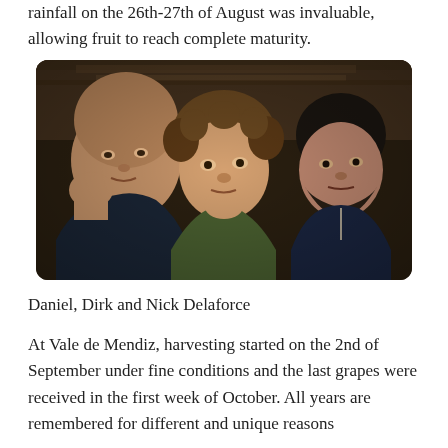rainfall on the 26th-27th of August was invaluable, allowing fruit to reach complete maturity.
[Figure (photo): Three men seated together in what appears to be a rustic wooden interior. The man on the left is close to the camera with a shaved head, the man in the middle has curly hair and is resting his chin on his hand, and the man on the right has dark hair and a beard.]
Daniel, Dirk and Nick Delaforce
At Vale de Mendiz, harvesting started on the 2nd of September under fine conditions and the last grapes were received in the first week of October. All years are remembered for different and unique reasons